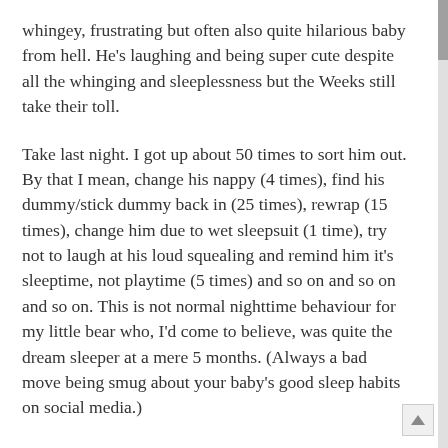whingey, frustrating but often also quite hilarious baby from hell. He's laughing and being super cute despite all the whinging and sleeplessness but the Weeks still take their toll.
Take last night. I got up about 50 times to sort him out. By that I mean, change his nappy (4 times), find his dummy/stick dummy back in (25 times), rewrap (15 times), change him due to wet sleepsuit (1 time), try not to laugh at his loud squealing and remind him it's sleeptime, not playtime (5 times) and so on and so on and so on. This is not normal nighttime behaviour for my little bear who, I'd come to believe, was quite the dream sleeper at a mere 5 months. (Always a bad move being smug about your baby's good sleep habits on social media.)
Every time he's in a Week, I feverishly search the app for a solution, any solution, to make him behave himself / sleep / stop whinging etc. I always find this sentence: